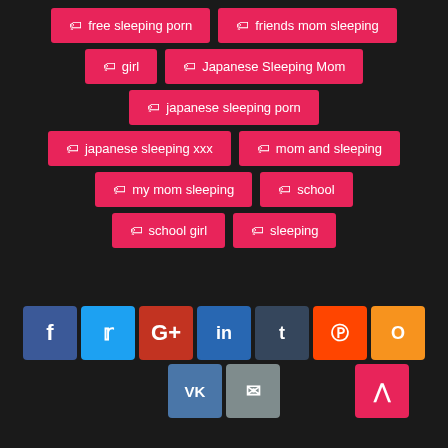free sleeping porn
friends mom sleeping
girl
Japanese Sleeping Mom
japanese sleeping porn
japanese sleeping xxx
mom and sleeping
my mom sleeping
school
school girl
sleeping
[Figure (infographic): Social media share buttons: Facebook, Twitter, Google+, LinkedIn, Tumblr, Reddit, Odnoklassniki, VKontakte, Email, scroll-to-top button]